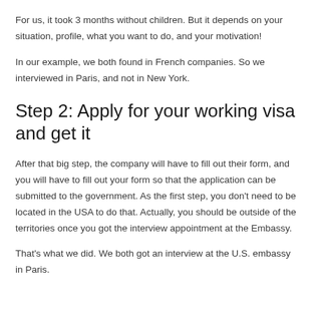For us, it took 3 months without children. But it depends on your situation, profile, what you want to do, and your motivation!
In our example, we both found in French companies. So we interviewed in Paris, and not in New York.
Step 2: Apply for your working visa and get it
After that big step, the company will have to fill out their form, and you will have to fill out your form so that the application can be submitted to the government. As the first step, you don't need to be located in the USA to do that. Actually, you should be outside of the territories once you got the interview appointment at the Embassy.
That's what we did. We both got an interview at the U.S. embassy in Paris.